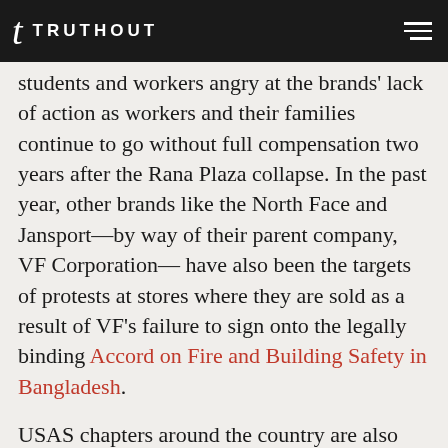TRUTHOUT
students and workers angry at the brands' lack of action as workers and their families continue to go without full compensation two years after the Rana Plaza collapse. In the past year, other brands like the North Face and Jansport—by way of their parent company, VF Corporation— have also been the targets of protests at stores where they are sold as a result of VF's failure to sign onto the legally binding Accord on Fire and Building Safety in Bangladesh.
USAS chapters around the country are also